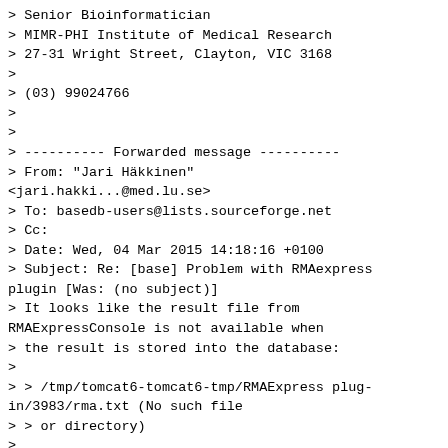> Senior Bioinformatician
> MIMR-PHI Institute of Medical Research
> 27-31 Wright Street, Clayton, VIC 3168
>
> (03) 99024766
>
>
> ---------- Forwarded message ----------
> From: "Jari Häkkinen"
<jari.hakki...@med.lu.se>
> To: basedb-users@lists.sourceforge.net
> Cc:
> Date: Wed, 04 Mar 2015 14:18:16 +0100
> Subject: Re: [base] Problem with RMAexpress plugin [Was: (no subject)]
> It looks like the result file from RMAExpressConsole is not available when
> the result is stored into the database:
>
> > /tmp/tomcat6-tomcat6-tmp/RMAExpress plug-in/3983/rma.txt (No such file
> > or directory)
>